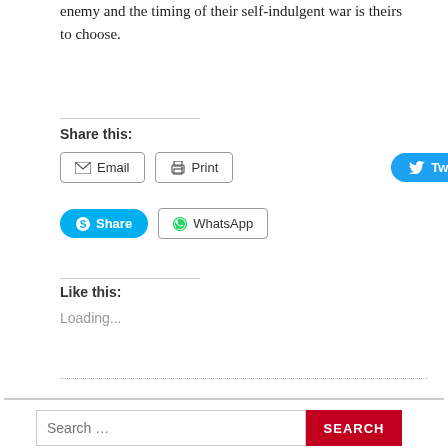enemy and the timing of their self-indulgent war is theirs to choose.
Share this:
Email  Print  Tweet
Share  WhatsApp
Like this:
Loading...
Search ...